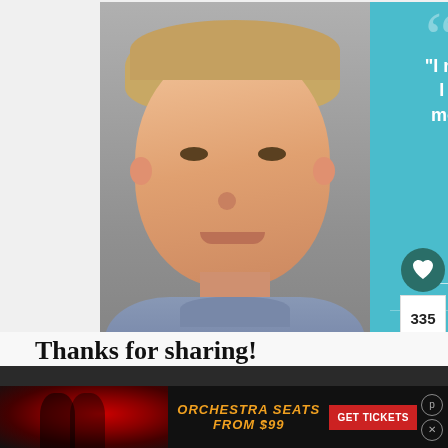[Figure (photo): Advertisement for Dave Thomas Foundation for Adoption. Left half shows a photo of a boy (Conner) with short brown hair wearing a gray polo shirt against a gray background. Right teal/aqua half shows a quote: 'I moved a bunch. I didn't want to move that much. I just wanted a family.' attributed to '— Conner, adopted at 12'. Bottom right has Dave Thomas Foundation for Adoption logo (red square with white child figure) and text.]
[Figure (infographic): Sidebar with dark teal circle containing a heart icon, a count box showing '335', and a white circle with a share icon (arrow with plus).]
[Figure (infographic): What's Next panel showing a thumbnail image (appears to be food - cream cheese whipped something) with label 'WHAT'S NEXT →' and text 'Cream Cheese Whipped...']
Thanks for sharing!
[Figure (photo): Bottom advertisement banner with dark background. Left portion shows a couple (musical/show imagery with red heart/rose motif). Center text reads 'ORCHESTRA SEATS FROM $99' in orange italic text. Right side has red 'GET TICKETS' button. Top right has small circular icons for settings and close.]